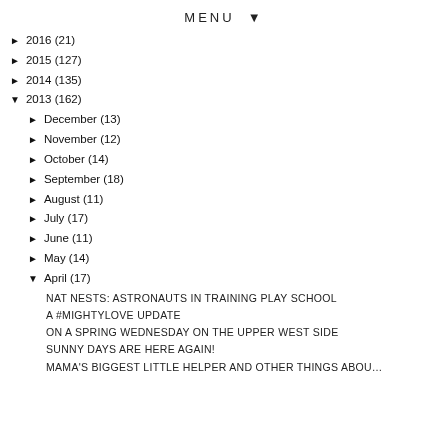MENU ▼
► 2016 (21)
► 2015 (127)
► 2014 (135)
▼ 2013 (162)
► December (13)
► November (12)
► October (14)
► September (18)
► August (11)
► July (17)
► June (11)
► May (14)
▼ April (17)
NAT NESTS: ASTRONAUTS IN TRAINING PLAY SCHOOL
A #MIGHTYLOVE UPDATE
ON A SPRING WEDNESDAY ON THE UPPER WEST SIDE
SUNNY DAYS ARE HERE AGAIN!
MAMA'S BIGGEST LITTLE HELPER AND OTHER THINGS ABOU…